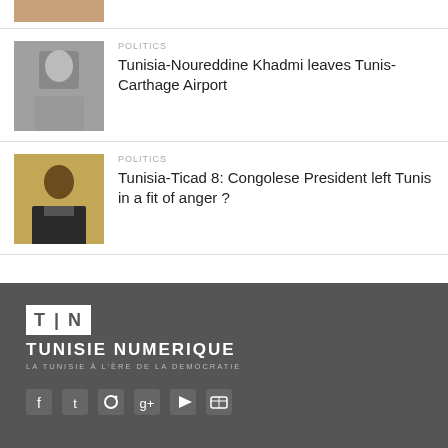[Figure (photo): Partial top image, cropped person]
POLITICS
Tunisia-Noureddine Khadmi leaves Tunis-Carthage Airport
[Figure (photo): Man sitting at desk in grey shirt]
POLITICS
Tunisia-Ticad 8: Congolese President left Tunis in a fit of anger ?
[Figure (photo): Elderly African man in suit]
[Figure (logo): Tunisie Numerique logo - TN box with brand text and slogan LA TUNISIE À L'ÈRE DE LA DEMOCRATIE]
Social media icons: Facebook, Twitter, Instagram, Google+, YouTube, RSS